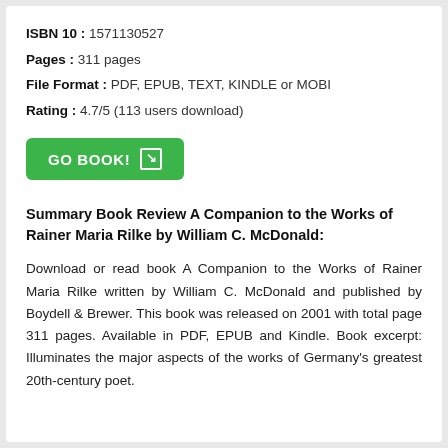ISBN 10 : 1571130527
Pages : 311 pages
File Format : PDF, EPUB, TEXT, KINDLE or MOBI
Rating : 4.7/5 (113 users download)
GO BOOK!
Summary Book Review A Companion to the Works of Rainer Maria Rilke by William C. McDonald:
Download or read book A Companion to the Works of Rainer Maria Rilke written by William C. McDonald and published by Boydell & Brewer. This book was released on 2001 with total page 311 pages. Available in PDF, EPUB and Kindle. Book excerpt: Illuminates the major aspects of the works of Germany's greatest 20th-century poet.